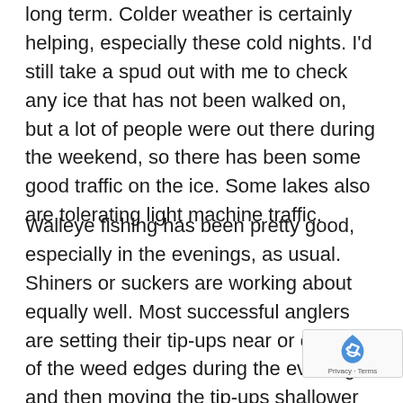long term. Colder weather is certainly helping, especially these cold nights. I'd still take a spud out with me to check any ice that has not been walked on, but a lot of people were out there during the weekend, so there has been some good traffic on the ice. Some lakes also are tolerating light machine traffic.
Walleye fishing has been pretty good, especially in the evenings, as usual. Shiners or suckers are working about equally well. Most successful anglers are setting their tip-ups near or outside of the weed edges during the evenings, and then moving the tip-ups shallower after dark. Cabbage weeds are the best, but if you can't them, any weeds will do. The deeper the we the better. Northern action has been real good.